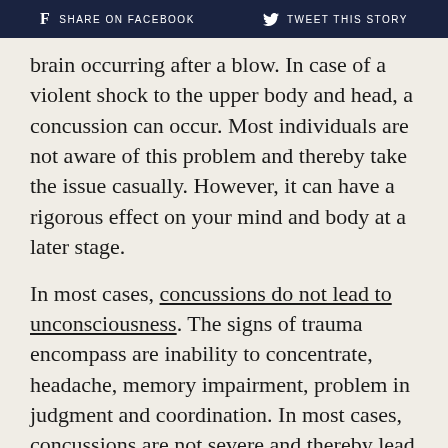f SHARE ON FACEBOOK   TWEET THIS STORY
brain occurring after a blow. In case of a violent shock to the upper body and head, a concussion can occur. Most individuals are not aware of this problem and thereby take the issue casually. However, it can have a rigorous effect on your mind and body at a later stage.
In most cases, concussions do not lead to unconsciousness. The signs of trauma encompass are inability to concentrate, headache, memory impairment, problem in judgment and coordination. In most cases, concussions are not severe and thereby lead to easy recovery.
Understanding post-concussion syndrome
In comparison to concussion, post-concussion is a complex medical condition that may last for a few weeks and even months. Around 10% of individuals suffer from this syndrome after a car accident. The signs of post-